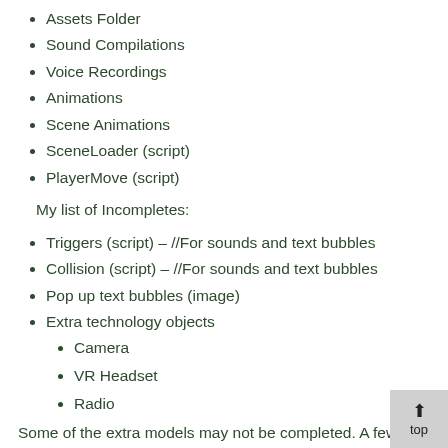Assets Folder
Sound Compilations
Voice Recordings
Animations
Scene Animations
SceneLoader (script)
PlayerMove (script)
My list of Incompletes:
Triggers (script) – //For sounds and text bubbles
Collision (script) – //For sounds and text bubbles
Pop up text bubbles (image)
Extra technology objects
Camera
VR Headset
Radio
Some of the extra models may not be completed. A few